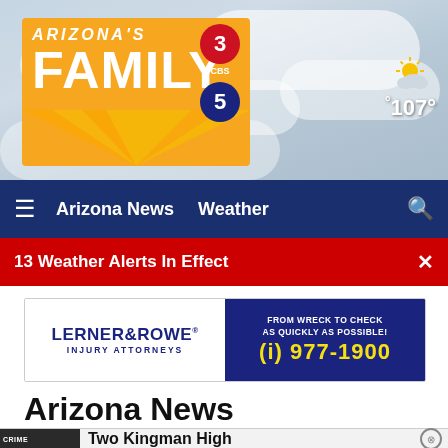[Figure (screenshot): Arizona's Family KTVK 3TV / CBS5 logo on orange background with sun rays]
[Figure (photo): Sky/clouds background in header area]
107°
≡  Arizona News   Weather   🔍
13 Weather Alerts In Effect
[Figure (other): Lerner & Rowe Injury Attorneys advertisement banner: FROM WRECK TO CHECK AS QUICKLY AS POSSIBLE! (i) 977-1900]
Arizona News
On Your Side
Arizona's Family Investigates
Crime
Education
Two Kingman High
CRIME